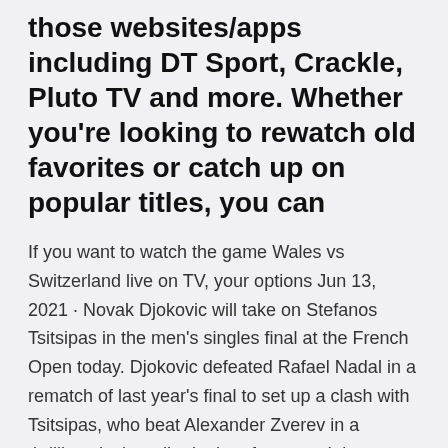those websites/apps including DT Sport, Crackle, Pluto TV and more. Whether you're looking to rewatch old favorites or catch up on popular titles, you can
If you want to watch the game Wales vs Switzerland live on TV, your options Jun 13, 2021 · Novak Djokovic will take on Stefanos Tsitsipas in the men's singles final at the French Open today. Djokovic defeated Rafael Nadal in a rematch of last year's final to set up a clash with Tsitsipas, who beat Alexander Zverev in a thrilling clash earlier in the afternoon. It is an intriguing match to decide the winner of the 2021 trophy at Roland Garros, as Tsitsipas has never won a Grand Netherlands vs Ukraine Totalsportek Live Stream Reddit Free Crackstreams Channels Lucky for you, Reddit allows fans to find live streams for all the hottest Europa